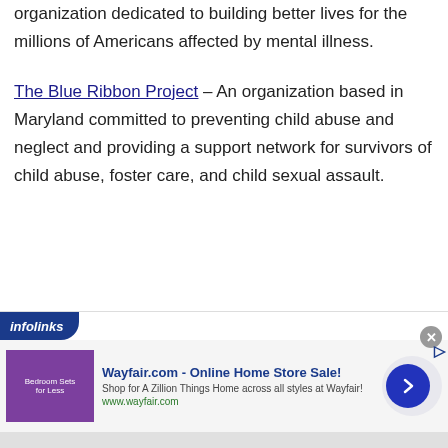organization dedicated to building better lives for the millions of Americans affected by mental illness.
The Blue Ribbon Project – An organization based in Maryland committed to preventing child abuse and neglect and providing a support network for survivors of child abuse, foster care, and child sexual assault.
[Figure (other): Infolinks advertisement banner for Wayfair.com - Online Home Store Sale! with image of bedroom furniture and navigation arrow button.]